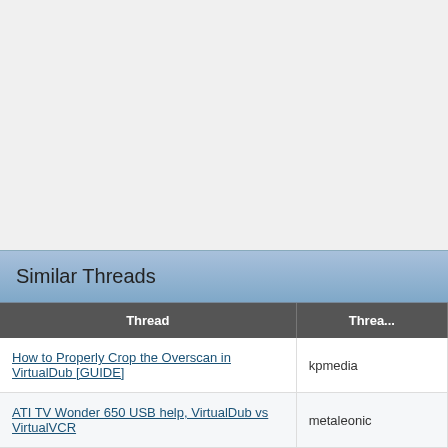[Figure (screenshot): Gray content area (top portion of a forum post or reply box)]
Reply (button)
Similar Threads
| Thread | Thread... |
| --- | --- |
| How to Properly Crop the Overscan in VirtualDub [GUIDE] | kpmedia |
| ATI TV Wonder 650 USB help, VirtualDub vs VirtualVCR | metaleonic |